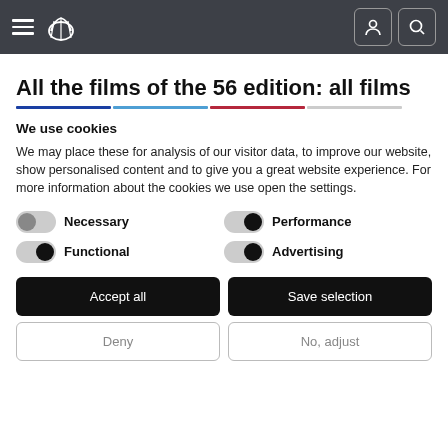Navigation bar with hamburger menu, shell logo, user icon, and search icon
All the films of the 56 edition: all films
We use cookies
We may place these for analysis of our visitor data, to improve our website, show personalised content and to give you a great website experience. For more information about the cookies we use open the settings.
Necessary (toggle off)
Performance (toggle on)
Functional (toggle on)
Advertising (toggle on)
Accept all | Save selection | Deny | No, adjust